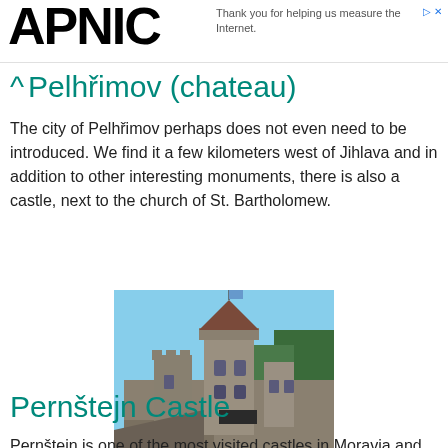APNIC — Thank you for helping us measure the Internet.
Pelhřimov (chateau)
The city of Pelhřimov perhaps does not even need to be introduced. We find it a few kilometers west of Jihlava and in addition to other interesting monuments, there is also a castle, next to the church of St. Bartholomew.
[Figure (photo): Photo of Pelhřimov chateau showing castle towers and stone buildings against a blue sky with trees]
Pernštejn Castle
Pernštejn is one of the most visited castles in Moravia and you should not miss a visit. It has never been humiliated